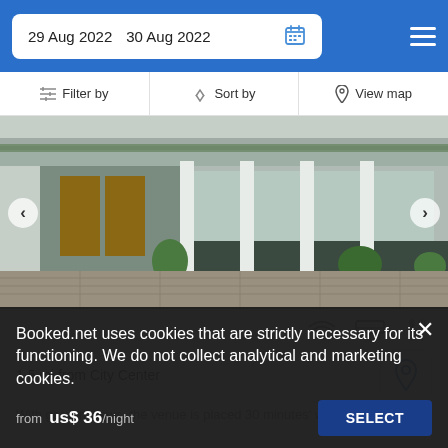29 Aug 2022   30 Aug 2022
Filter by   Sort by   View map
[Figure (photo): Exterior photo of a modern low-rise hotel or villa with glass facades, white columns, paved courtyard, and tropical plants. Has left and right navigation arrows.]
1.5 mi from City Center
With garden views, the venue is placed 30 minutes' walk from
Booked.net uses cookies that are strictly necessary for its functioning. We do not collect analytical and marketing cookies.
from us$ 36/night   SELECT